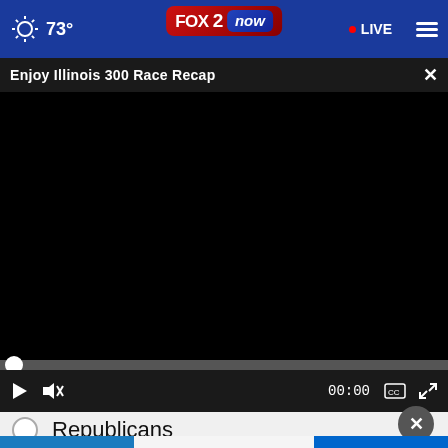73° FOX 2 now • LIVE
Enjoy Illinois 300 Race Recap
[Figure (screenshot): Black video player area showing a paused/loading video]
00:00
Republicans
[Figure (photo): Studio STL advertisement banner — Organize yourself! Anne Marie Design Studio LLC — CLICK HERE TO VIEW OUR SEGMENT]